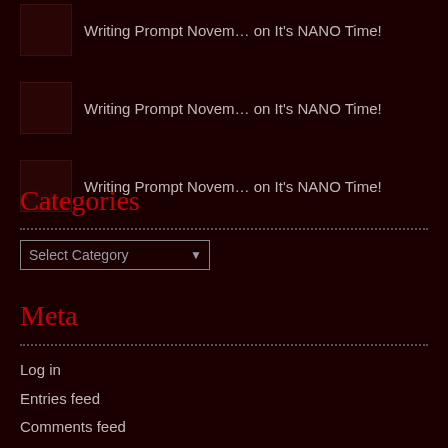Writing Prompt Novem… on It's NANO Time!
Writing Prompt Novem… on It's NANO Time!
Writing Prompt Novem… on It's NANO Time!
Categories
Select Category (dropdown)
Meta
Log in
Entries feed
Comments feed
WordPress.org